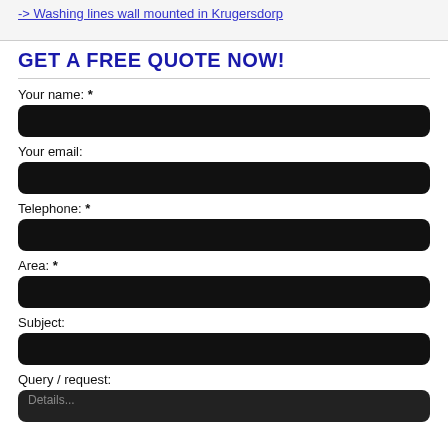-> Washing lines wall mounted in Krugersdorp
GET A FREE QUOTE NOW!
Your name: *
Your email:
Telephone: *
Area: *
Subject:
Query / request: